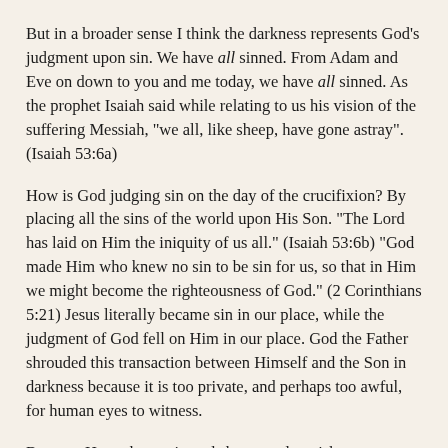But in a broader sense I think the darkness represents God's judgment upon sin. We have all sinned. From Adam and Eve on down to you and me today, we have all sinned. As the prophet Isaiah said while relating to us his vision of the suffering Messiah, "we all, like sheep, have gone astray". (Isaiah 53:6a)
How is God judging sin on the day of the crucifixion? By placing all the sins of the world upon His Son. "The Lord has laid on Him the iniquity of us all." (Isaiah 53:6b) "God made Him who knew no sin to be sin for us, so that in Him we might become the righteousness of God." (2 Corinthians 5:21) Jesus literally became sin in our place, while the judgment of God fell on Him in our place. God the Father shrouded this transaction between Himself and the Son in darkness because it is too private, and perhaps too awful, for human eyes to witness.
Because He took our sin and shame and punishment on Himself, Jesus Christ experienced a darkness none of us will ever have to experience if we have placed our faith in Him. He experienced a separation from the Father that you and I will never have to experience if we have placed our faith in Him. As darkness reigns